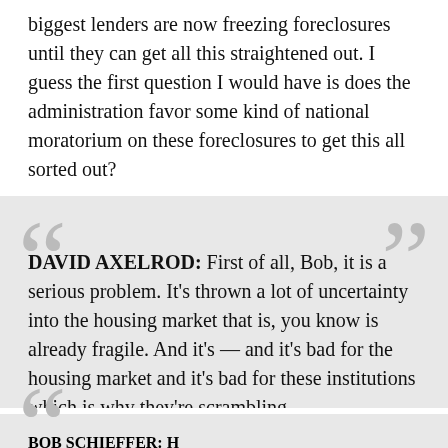biggest lenders are now freezing foreclosures until they can get all this straightened out. I guess the first question I would have is does the administration favor some kind of national moratorium on these foreclosures to get this all sorted out?
DAVID AXELROD: First of all, Bob, it is a serious problem. It's thrown a lot of uncertainty into the housing market that is, you know is already fragile. And it's — and it's bad for the housing market and it's bad for these institutions which is why they're scrambling –
BOB SCHIEFFER: H...